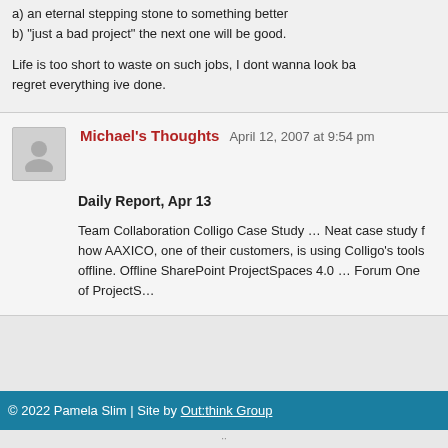a) an eternal stepping stone to something better
b) "just a bad project" the next one will be good.
Life is too short to waste on such jobs, I dont wanna look back and regret everything ive done.
Michael's Thoughts   April 12, 2007 at 9:54 pm
Daily Report, Apr 13
Team Collaboration Colligo Case Study … Neat case study how AAXICO, one of their customers, is using Colligo's tools offline. Offline SharePoint ProjectSpaces 4.0 … Forum One of ProjectS…
© 2022 Pamela Slim | Site by Out:think Group